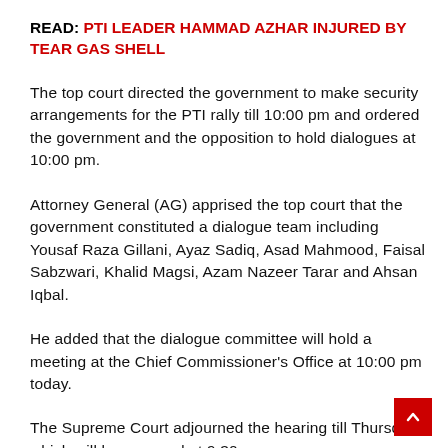READ: PTI LEADER HAMMAD AZHAR INJURED BY TEAR GAS SHELL
The top court directed the government to make security arrangements for the PTI rally till 10:00 pm and ordered the government and the opposition to hold dialogues at 10:00 pm.
Attorney General (AG) apprised the top court that the government constituted a dialogue team including Yousaf Raza Gillani, Ayaz Sadiq, Asad Mahmood, Faisal Sabzwari, Khalid Magsi, Azam Nazeer Tarar and Ahsan Iqbal.
He added that the dialogue committee will hold a meeting at the Chief Commissioner's Office at 10:00 pm today.
The Supreme Court adjourned the hearing till Thursday which will be resumed at 9:30 am.